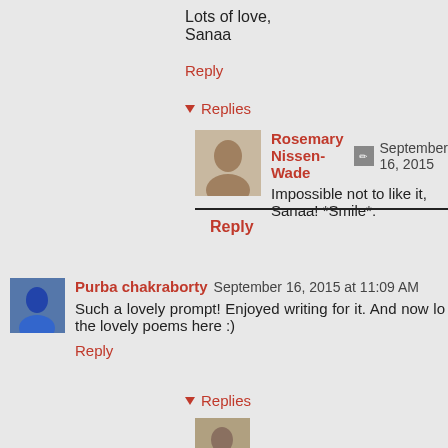Lots of love,
Sanaa
Reply
▾ Replies
Rosemary Nissen-Wade  September 16, 2015
Impossible not to like it, Sanaa! *Smile*.
Reply
Purba chakraborty  September 16, 2015 at 11:09 AM
Such a lovely prompt! Enjoyed writing for it. And now lo the lovely poems here :)
Reply
▾ Replies